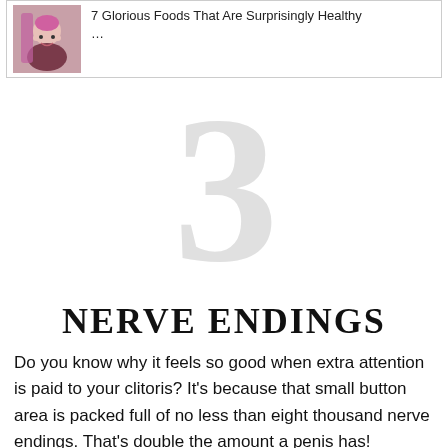[Figure (photo): Thumbnail photo of a woman with pink hair holding something pink, shown in a card with link text]
7 Glorious Foods That Are Surprisingly Healthy …
3
NERVE ENDINGS
Do you know why it feels so good when extra attention is paid to your clitoris? It's because that small button area is packed full of no less than eight thousand nerve endings. That's double the amount a penis has!